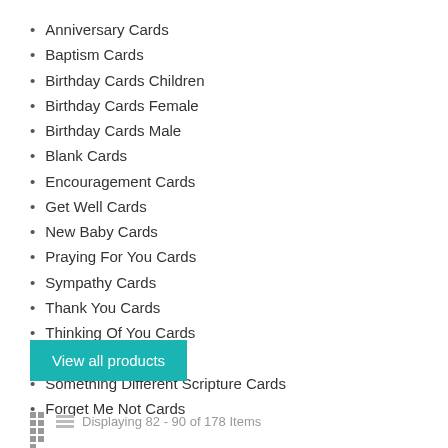Anniversary Cards
Baptism Cards
Birthday Cards Children
Birthday Cards Female
Birthday Cards Male
Blank Cards
Encouragement Cards
Get Well Cards
New Baby Cards
Praying For You Cards
Sympathy Cards
Thank You Cards
Thinking Of You Cards
Wedding Cards
Something Different Scripture Cards
Forget Me Not Cards
View all products
Displaying 82 - 90 of 178 Items